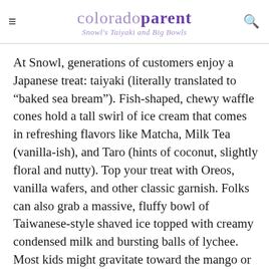colorado parent — Snowl's Taiyaki and Big Bowls
At Snowl, generations of customers enjoy a Japanese treat: taiyaki (literally translated to “baked sea bream”). Fish-shaped, chewy waffle cones hold a tall swirl of ice cream that comes in refreshing flavors like Matcha, Milk Tea (vanilla-ish), and Taro (hints of coconut, slightly floral and nutty). Top your treat with Oreos, vanilla wafers, and other classic garnish. Folks can also grab a massive, fluffy bowl of Taiwanese-style shaved ice topped with creamy condensed milk and bursting balls of lychee. Most kids might gravitate toward the mango or strawberry options. Plan to hang out a while in the shop, where